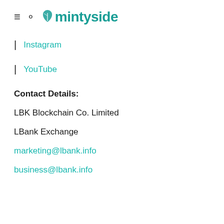mintyside
| Instagram
| YouTube
Contact Details:
LBK Blockchain Co. Limited
LBank Exchange
marketing@lbank.info
business@lbank.info